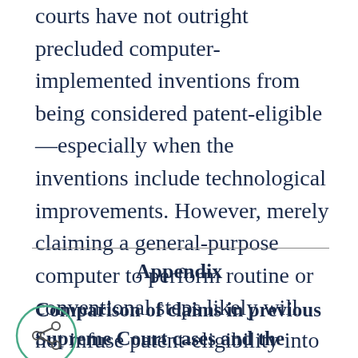courts have not outright precluded computer-implemented inventions from being considered patent-eligible—especially when the inventions include technological improvements. However, merely claiming a general-purpose computer to perform routine or conventional steps likely will not infuse patent-eligibility into a claim.
Appendix
Comparison of claims in previous Supreme Court cases and the "abstract idea" identified therein by the Supreme Court in Alice